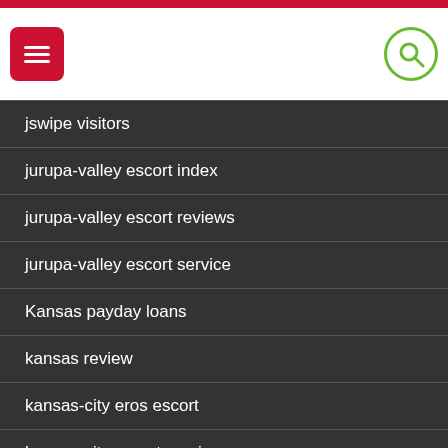Navigation header with menu and search icons
jswipe visitors
jurupa-valley escort index
jurupa-valley escort reviews
jurupa-valley escort service
Kansas payday loans
kansas review
kansas-city eros escort
kansas-city escort service
kansas-city escort sites
kansas-city live escort review
kansas-city what is an escort
kansas-city-1 escort
kansas-city-1 escort index